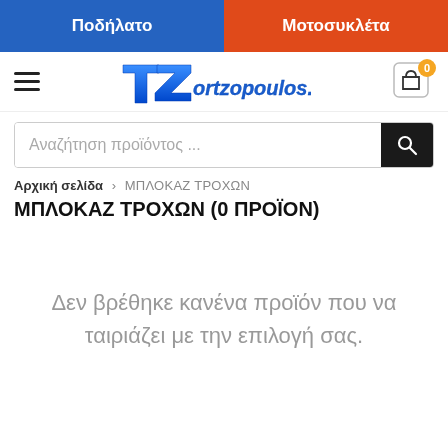Ποδήλατο | Μοτοσυκλέτα
[Figure (logo): TZortzopoulos logo with italic blue stylized text and a shopping cart icon with badge showing 0]
Αναζήτηση προϊόντος ...
Αρχική σελίδα › ΜΠΛΟΚΑΖ ΤΡΟΧΩΝ
ΜΠΛΟΚΑΖ ΤΡΟΧΩΝ (0 ΠΡΟΪΟΝ)
Δεν βρέθηκε κανένα προϊόν που να ταιριάζει με την επιλογή σας.